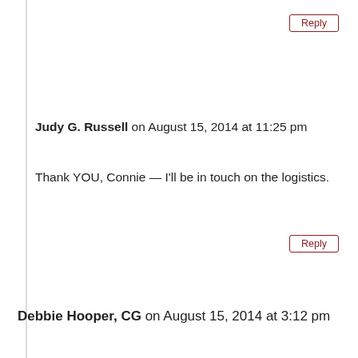Reply (button, top right)
Judy G. Russell on August 15, 2014 at 11:25 pm
Thank YOU, Connie — I'll be in touch on the logistics.
Reply (button, middle right)
Debbie Hooper, CG on August 15, 2014 at 3:12 pm
Judy,
As a fellow "non-morning person," I truly appreciate the timing of this. Judy has a great passion for Social Security and Pensions. I was fortunate enough to solve a case last year because th... a "B," and those were digitized. I made a donation then, and I
We use cookies on this website to ensure that the site will work properly on your web browser together with improving the site's performance. If you click "Yes, I agree," you are agreeing to our use of cookies.